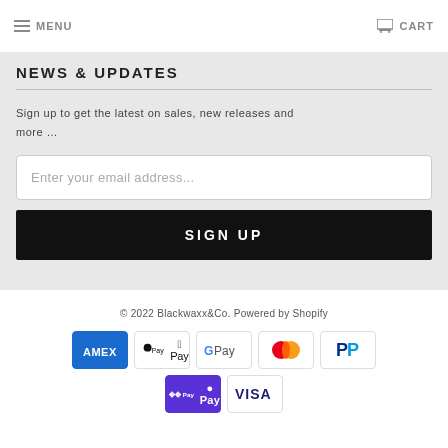MENU   CART
NEWS & UPDATES
Sign up to get the latest on sales, new releases and more …
Enter your email address...
SIGN UP
© 2022 Blackwaxx&Co. Powered by Shopify
[Figure (other): Payment method icons: American Express, Apple Pay, Google Pay, Mastercard, PayPal, Shop Pay, Visa]